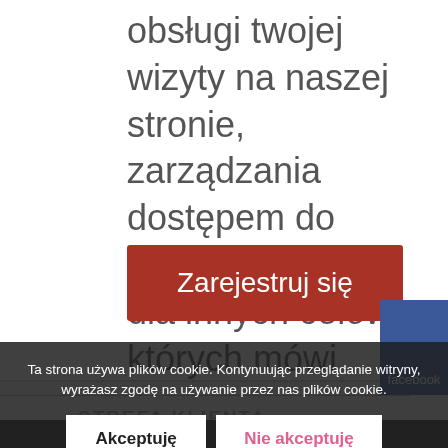obsługi twojej wizyty na naszej stronie, zarządzania dostępem do twojego konta i dla innych celów o których mówi nasza polityka prywatności.
Zarejestruj się
STREFA KLIENTA
Formy płatności
Koszt i metody dostawy
Zwroty
Reklamacje
Polityka prywatności
Ta strona używa plików cookie. Kontynuując przeglądanie witryny, wyrażasz zgodę na używanie przez nas plików cookie.
Akceptuję
Nie akceptuję